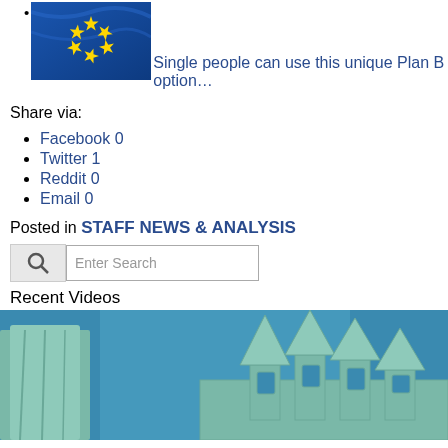[Figure (photo): EU flag photo in blue tones with yellow stars, top left]
Single people can use this unique Plan B option…
Share via:
Facebook 0
Twitter 1
Reddit 0
Email 0
Posted in STAFF NEWS & ANALYSIS
Enter Search
Recent Videos
[Figure (photo): Statue of Liberty crown and figure close-up against blue sky]